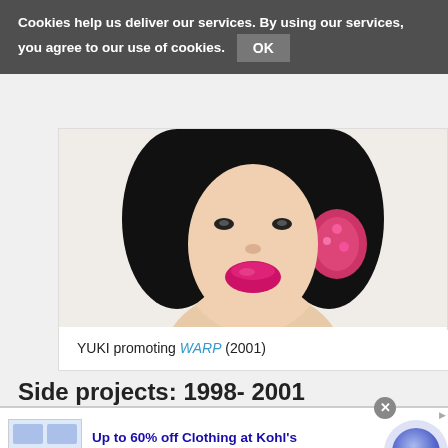Cookies help us deliver our services. By using our services, you agree to our use of cookies. OK
[Figure (photo): YUKI wearing headphones with pink ear muffs, bold pink lipstick, promotional photo]
YUKI promoting WARP (2001)
Side projects: 1998- 2001
During this time, YUKI began working on a few different
[Figure (screenshot): Advertisement: Up to 60% off Clothing at Kohl's. Save up to 60% on clothing and homeware at Kohl's.com. kohls.com]